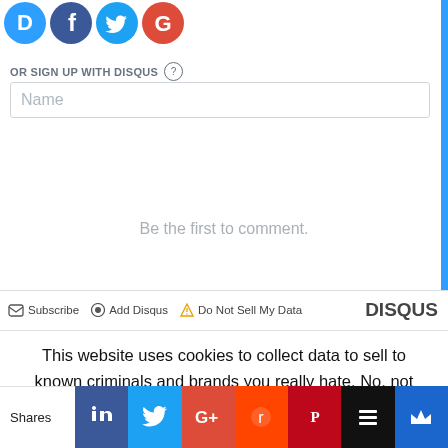[Figure (screenshot): Social login icons: Disqus (blue D), Facebook (blue f), Twitter (blue bird), Google (red G)]
OR SIGN UP WITH DISQUS ?
Name
Be the first to comment.
Subscribe  Add Disqus  Do Not Sell My Data  DISQUS
This website uses cookies to collect data to sell to known criminals and brands you really hate. No, not really. No designs on your data. I'm just a bloke with a blog who can barely tie his own shoelaces. Hope
[Figure (screenshot): Social share bar with Shares label, Facebook like, Twitter, Google+, Reddit, Pinterest, Buffer/Stack, Crown icons]